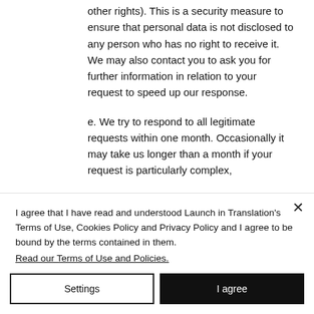other rights). This is a security measure to ensure that personal data is not disclosed to any person who has no right to receive it. We may also contact you to ask you for further information in relation to your request to speed up our response.
e. We try to respond to all legitimate requests within one month. Occasionally it may take us longer than a month if your request is particularly complex,
I agree that I have read and understood Launch in Translation's Terms of Use, Cookies Policy and Privacy Policy and I agree to be bound by the terms contained in them.
Read our Terms of Use and Policies.